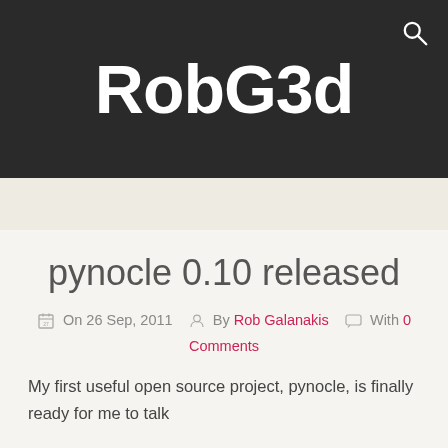RobG3d
pynocle 0.10 released
On 26 Sep, 2011  By Rob Galanakis  With 0 Comments
My first useful open source project, pynocle, is finally ready for me to talk